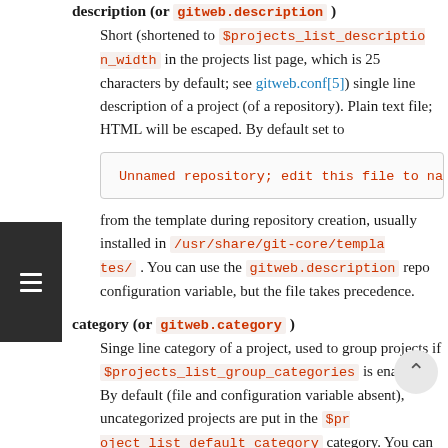description (or gitweb.description)
Short (shortened to $projects_list_description_width in the projects list page, which is 25 characters by default; see gitweb.conf[5]) single line description of a project (of a repository). Plain text file; HTML will be escaped. By default set to
Unnamed repository; edit this file to name
from the template during repository creation, usually installed in /usr/share/git-core/templates/ . You can use the gitweb.description repo configuration variable, but the file takes precedence.
category (or gitweb.category)
Singe line category of a project, used to group projects if $projects_list_group_categories is enabled. By default (file and configuration variable absent), uncategorized projects are put in the $project_list_default_category category. You can